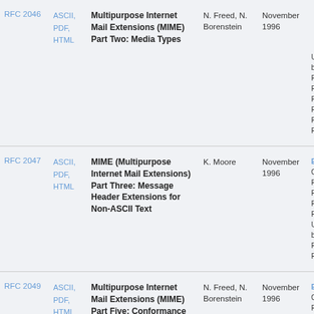| RFC | Format | Title | Author | Date | Status/Notes |
| --- | --- | --- | --- | --- | --- |
| RFC 2046 | ASCII, PDF, HTML | Multipurpose Internet Mail Extensions (MIME) Part Two: Media Types | N. Freed, N. Borenstein | November 1996 |  |
| RFC 2047 | ASCII, PDF, HTML | MIME (Multipurpose Internet Mail Extensions) Part Three: Message Header Extensions for Non-ASCII Text | K. Moore | November 1996 |  |
| RFC 2049 | ASCII, PDF, HTML | Multipurpose Internet Mail Extensions (MIME) Part Five: Conformance Criteria | N. Freed, N. Borenstein | November 1996 |  |